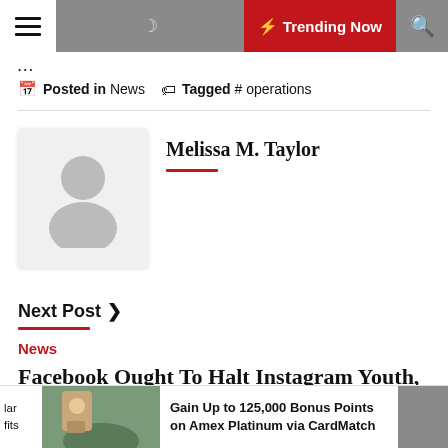Trending Now
Posted in News  Tagged # operations
Melissa M. Taylor
[Figure (photo): Gray placeholder avatar silhouette icon in a rounded box]
Next Post ›
News
Facebook Ought To Halt Instagram Youth, Attorneys General Say
Gain Up to 125,000 Bonus Points on Amex Platinum via CardMatch